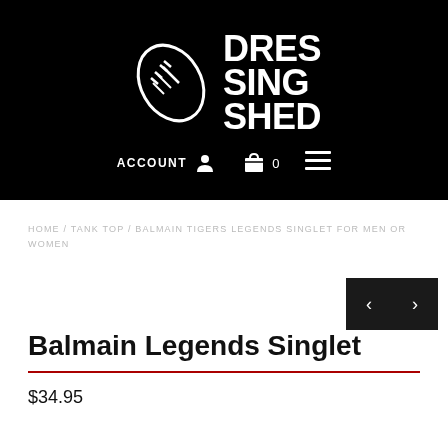DRESSING SHED — ACCOUNT | 0 | Menu
HOME / TANK TOP / BALMAIN TIGERS LEGENDS SINGLET FOR MEN OR WOMEN
Balmain Legends Singlet
$34.95